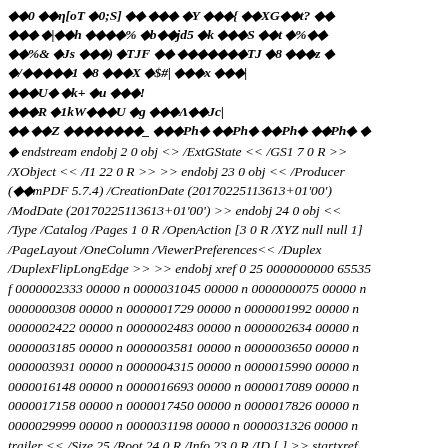◆◆0 ◆◆η[oT ◆0;S] ◆◆ ◆◆◆ ◆Y ◆◆◆{ ◆◆XG◆◆t? ◆◆ ◆◆◆ ◆|◆◆h ◆◆◆◆% ◆b◆◆jd5 ◆k ◆◆◆S ◆◆t ◆%◆◆ ◆◆%& ◆Js ◆◆◆) ◆TJF ◆◆ ◆◆◆◆◆◆◆TJ ◆8 ◆◆◆z ◆ ◆/◆◆◆◆◆1 ◆8 ◆◆◆X ◆$#| ◆◆◆x ◆◆◆| ◆◆◆U◆ ◆k+ ◆u ◆◆◆! ◆◆◆R ◆1kW◆◆◆U ◆g ◆◆◆Λ◆◆Jc| ◆◆ ◆◆Z ◆◆◆◆◆◆◆◆_ ◆◆◆Ph◆ ◆◆Ph◆ ◆◆Ph◆ ◆◆Ph◆ ◆
◆ endstream endobj 2 0 obj <> /ExtGState << /GS1 7 0 R >> /XObject << /I1 22 0 R >> >> endobj 23 0 obj << /Producer (◆◆mPDF 5.7.4) /CreationDate (20170225113613+01'00') /ModDate (20170225113613+01'00') >> endobj 24 0 obj << /Type /Catalog /Pages 1 0 R /OpenAction [3 0 R /XYZ null null 1] /PageLayout /OneColumn /ViewerPreferences<< /Duplex /DuplexFlipLongEdge >> >> endobj xref 0 25 0000000000 65535 f 0000002333 00000 n 0000031045 00000 n 0000000075 00000 n 0000000308 00000 n 0000001729 00000 n 0000001992 00000 n 0000002422 00000 n 0000002483 00000 n 0000002634 00000 n 0000003185 00000 n 0000003581 00000 n 0000003650 00000 n 0000003931 00000 n 0000004315 00000 n 0000015990 00000 n 0000016148 00000 n 0000016693 00000 n 0000017089 00000 n 0000017158 00000 n 0000017450 00000 n 0000017826 00000 n 0000029999 00000 n 0000031198 00000 n 0000031326 00000 n trailer << /Size 25 /Root 24 0 R /Info 23 0 R /ID [ ] >> startxref 31488 %%EOF